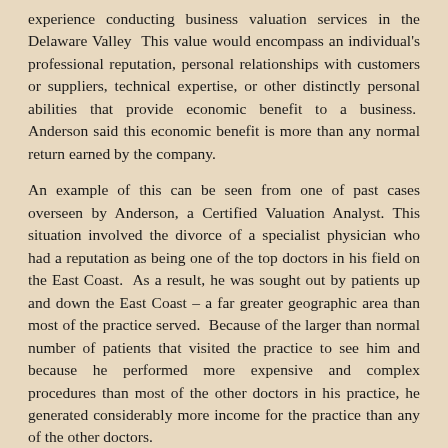experience conducting business valuation services in the Delaware Valley  This value would encompass an individual's professional reputation, personal relationships with customers or suppliers, technical expertise, or other distinctly personal abilities that provide economic benefit to a business.  Anderson said this economic benefit is more than any normal return earned by the company.
An example of this can be seen from one of past cases overseen by Anderson, a Certified Valuation Analyst. This situation involved the divorce of a specialist physician who had a reputation as being one of the top doctors in his field on the East Coast.  As a result, he was sought out by patients up and down the East Coast – a far greater geographic area than most of the practice served.  Because of the larger than normal number of patients that visited the practice to see him and because he performed more expensive and complex procedures than most of the other doctors in his practice, he generated considerably more income for the practice than any of the other doctors.
To calculate the personal goodwill of this physician,